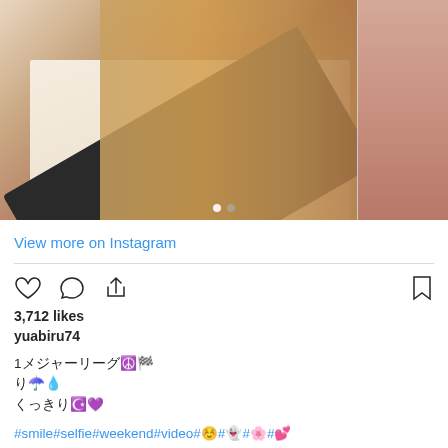[Figure (photo): Instagram post photo showing close-up of a person with blonde/reddish-brown hair wearing a black and white striped sweater, with a second partial image visible on the right side. Two navigation dots at the bottom indicate multiple images.]
View more on Instagram
3,712 likes
yuabiru74
1メジャーリーグ☮️
り️☂️
くっきり☪️
#smile#selfie#weekend#video#☺️#👻#🌸#💕
view all 35 comments